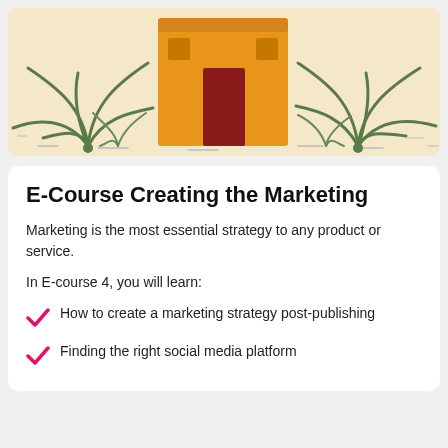[Figure (illustration): Illustration of an orange/yellow building with desert plants (agave/succulents) on a light tan/cream background, partially visible at the top of the page.]
E-Course Creating the Marketing
Marketing is the most essential strategy to any product or service.
In E-course 4, you will learn:
How to create a marketing strategy post-publishing
Finding the right social media platform